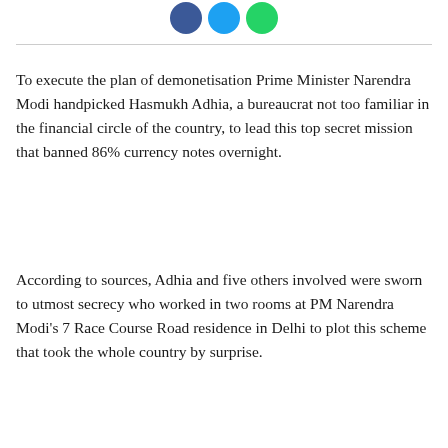[Figure (illustration): Social media sharing icons: Facebook (blue circle), Twitter (light blue circle), WhatsApp (green circle)]
To execute the plan of demonetisation Prime Minister Narendra Modi handpicked Hasmukh Adhia, a bureaucrat not too familiar in the financial circle of the country, to lead this top secret mission that banned 86% currency notes overnight.
According to sources, Adhia and five others involved were sworn to utmost secrecy who worked in two rooms at PM Narendra Modi's 7 Race Course Road residence in Delhi to plot this scheme that took the whole country by surprise.